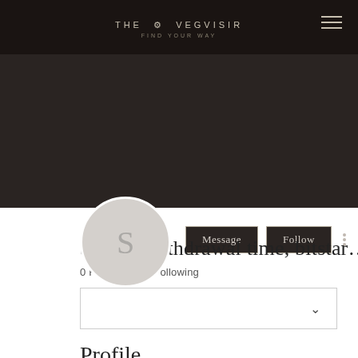THE VEGVISIR FIND YOUR WAY
[Figure (screenshot): User profile avatar circle with letter S on dark banner background]
Message
Follow
Swyftx withdrawal time, bitstar…
0 Followers • 0 Following
Profile